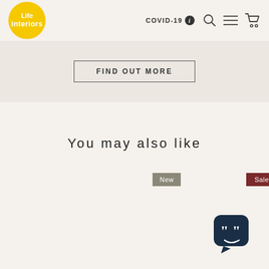[Figure (logo): Life Interiors yellow circle logo with white text]
COVID-19 ℹ
[Figure (illustration): Search icon, hamburger menu icon, and shopping cart icon]
FIND OUT MORE
You may also like
New
Sale
[Figure (illustration): Chat support widget icon with speech bubble and smiley face]